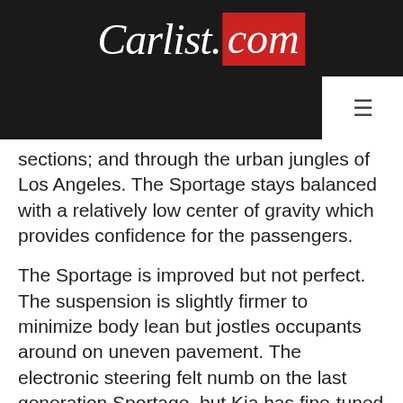Carlist.com
sections; and through the urban jungles of Los Angeles. The Sportage stays balanced with a relatively low center of gravity which provides confidence for the passengers.
The Sportage is improved but not perfect. The suspension is slightly firmer to minimize body lean but jostles occupants around on uneven pavement. The electronic steering felt numb on the last generation Sportage, but Kia has fine-tuned this software over the years. This vehicle is definitely not hydraulic steering, but the on-center feeling can keep the Sportage tracking straight even at high speeds.